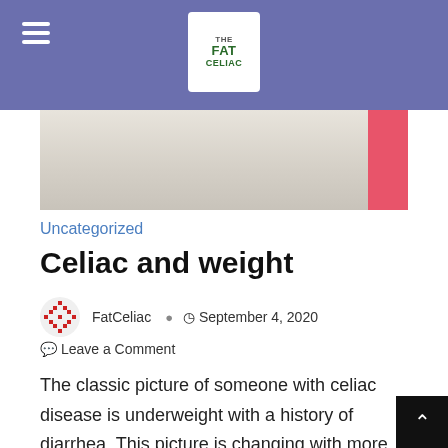The Fat Celiac — site header with hamburger menu and logo
[Figure (photo): Partial photo of a medical or food-related image with white/beige tones and a pink/red element on the right edge]
Uncategorized
Celiac and weight
FatCeliac  ·  September 4, 2020  ·  Leave a Comment
The classic picture of someone with celiac disease is underweight with a history of diarrhea. This picture is changing with more and more asymptomatic, overweight, constipated, anemic, or those with a constellation of vague